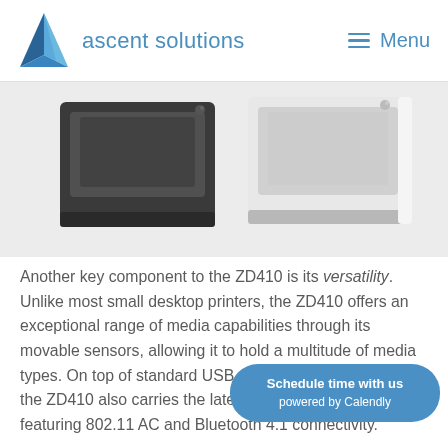ascent solutions   Menu
[Figure (photo): Two Zebra ZD410 desktop label printers side by side — one dark gray, one white — shown from a low angle on a white background.]
Another key component to the ZD410 is its versatility. Unlike most small desktop printers, the ZD410 offers an exceptional range of media capabilities through its movable sensors, allowing it to hold a multitude of media types. On top of standard USB and auto sensing serial, the ZD410 also carries the latest com[nectivity options] featuring 802.11 AC and Bluetooth 4.1 connectivity.
[Figure (other): Blue rounded-rectangle button overlay reading 'Schedule time with us powered by Calendly']